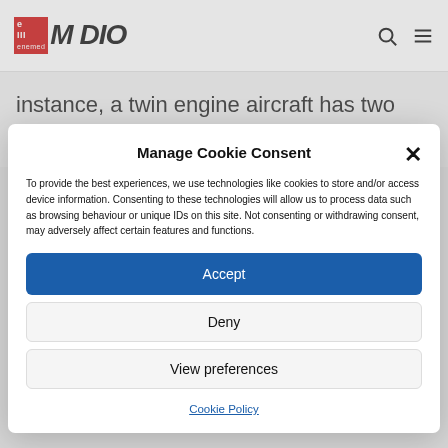enemed MEDIO (logo with search and menu icons)
instance, a twin engine aircraft has two thrust levers,
Manage Cookie Consent
To provide the best experiences, we use technologies like cookies to store and/or access device information. Consenting to these technologies will allow us to process data such as browsing behaviour or unique IDs on this site. Not consenting or withdrawing consent, may adversely affect certain features and functions.
Accept
Deny
View preferences
Cookie Policy